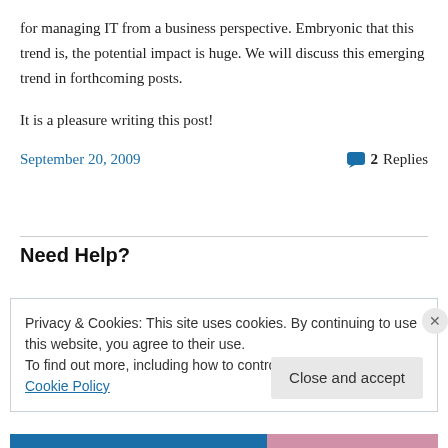for managing IT from a business perspective. Embryonic that this trend is, the potential impact is huge. We will discuss this emerging trend in forthcoming posts.
It is a pleasure writing this post!
September 20, 2009   2 Replies
Need Help?
Privacy & Cookies: This site uses cookies. By continuing to use this website, you agree to their use.
To find out more, including how to control cookies, see here: Cookie Policy